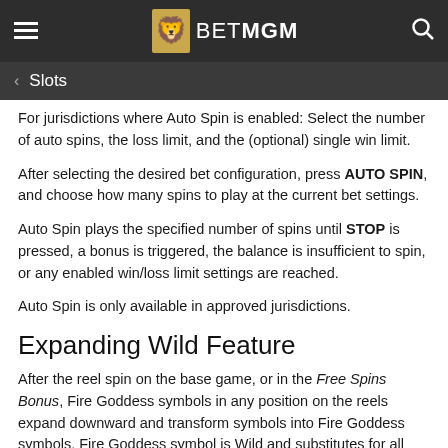BetMGM
Slots
For jurisdictions where Auto Spin is enabled: Select the number of auto spins, the loss limit, and the (optional) single win limit.
After selecting the desired bet configuration, press AUTO SPIN, and choose how many spins to play at the current bet settings.
Auto Spin plays the specified number of spins until STOP is pressed, a bonus is triggered, the balance is insufficient to spin, or any enabled win/loss limit settings are reached.
Auto Spin is only available in approved jurisdictions.
Expanding Wild Feature
After the reel spin on the base game, or in the Free Spins Bonus, Fire Goddess symbols in any position on the reels expand downward and transform symbols into Fire Goddess symbols. Fire Goddess symbol is Wild and substitutes for all symbols except for the Bonus symbol.